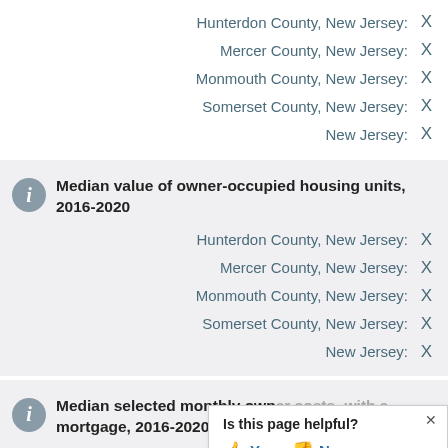Hunterdon County, New Jersey: X
Mercer County, New Jersey: X
Monmouth County, New Jersey: X
Somerset County, New Jersey: X
New Jersey: X
Median value of owner-occupied housing units, 2016-2020
Hunterdon County, New Jersey: X
Mercer County, New Jersey: X
Monmouth County, New Jersey: X
Somerset County, New Jersey: X
New Jersey: X
Median selected monthly owner costs with a mortgage, 2016-2020
Hunterdon Cou...